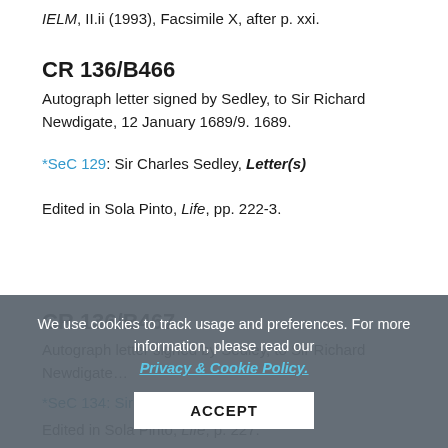IELM, II.ii (1993), Facsimile X, after p. xxi.
CR 136/B466
Autograph letter signed by Sedley, to Sir Richard Newdigate, 12 January 1689/9. 1689.
*SeC 129: Sir Charles Sedley, Letter(s)
Edited in Sola Pinto, Life, pp. 222-3.
CR 136/B467
Autograph letter signed by Sedley, to Sir Richard Newdigate...
*SeC 134: Sir Charles Sedley, Letter(s)
Edited in Sola Pinto, Life, p. 227.